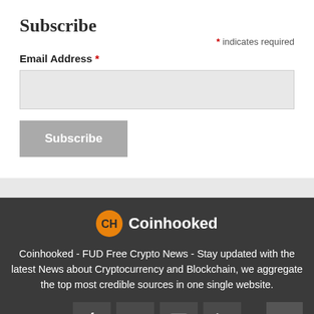Subscribe
* indicates required
Email Address *
[Figure (screenshot): Email address input field (gray background text box)]
[Figure (screenshot): Subscribe button (gray button with white text)]
[Figure (logo): Coinhooked logo - orange circle with CH letters and Coinhooked text]
Coinhooked - FUD Free Crypto News - Stay updated with the latest News about Cryptocurrency and Blockchain, we aggregate the top most credible sources in one single website.
[Figure (infographic): Social media icons: Facebook, Twitter, YouTube, RSS feed]